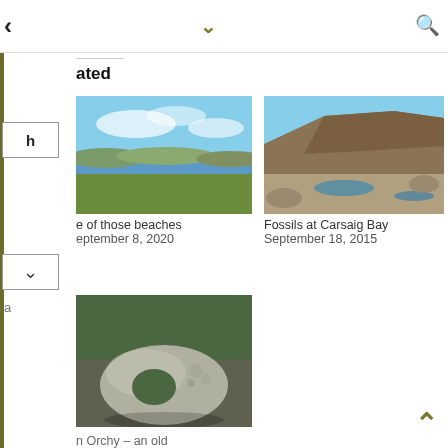< ∨ 🔍
ated
[Figure (photo): Coastal landscape with sea, distant hills and green grassland under blue sky]
e of those beaches
eptember 8, 2020
[Figure (photo): Rocky coastal cliffs and tidal rocks at Carsaig Bay]
Fossils at Carsaig Bay
September 18, 2015
[Figure (photo): A holed stone (glacial erratic or ancient stone) in grass]
n Orchy – an old
dge, a magical stone
d some desperate
gs